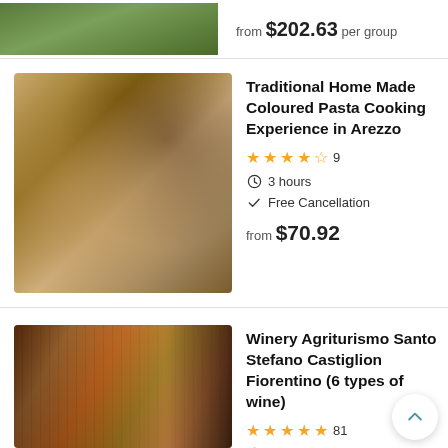[Figure (photo): Aerial/landscape photo showing green forested hills (partially visible at top)]
from $202.63 per group
[Figure (photo): Hands kneading pasta dough on a wooden board with flour, a glass of red wine in the background]
Traditional Home Made Coloured Pasta Cooking Experience in Arezzo
4.5 stars, 9 reviews
3 hours
Free Cancellation
from $70.92
[Figure (photo): Interior of a wine cellar with rows of wine barrels and bottle racks, warm lighting]
Winery Agriturismo Santo Stefano Castiglion Fiorentino (6 types of wine)
5 stars, 81 reviews
1 hour 30 minutes
Free Cancellation